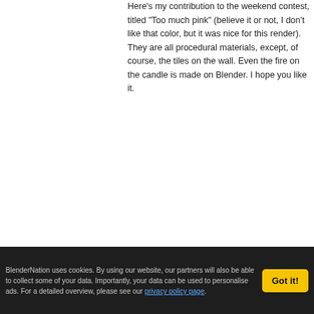Here's my contribution to the weekend contest, titled "Too much pink" (believe it or not, I don't like that color, but it was nice for this render). They are all procedural materials, except, of course, the tiles on the wall. Even the fire on the candle is made on Blender. I hope you like it.
REPLY >
RJ on FEBRUARY 9, 2014 23:22 PM
Very convincing cream!
REPLY >
BlenderNation uses cookies. By using our website, our partners will also be able to collect some of your data. Importantly, your data can be used to personalise ads. For a detailed overview, please see our privacy policy page.